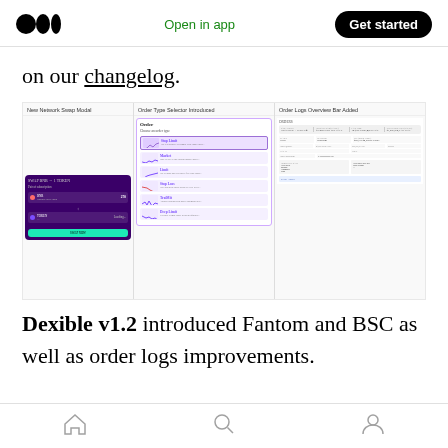Medium logo | Open in app | Get started
on our changelog.
[Figure (screenshot): Three-panel screenshot showing: (1) New Network Swap Modal with purple UI, (2) Order Type Selector Introduced listing Stop Limit, Market, Limit, Stop Loss, TraiMit, Deep Limit order types, (3) Order Logs Overview Bar Added showing a data table interface]
Dexible v1.2 introduced Fantom and BSC as well as order logs improvements.
Home | Search | Profile icons